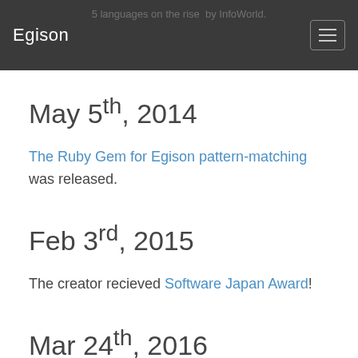Egison
5 languages on the rise by InfoWorld.
May 5th, 2014
The Ruby Gem for Egison pattern-matching was released.
Feb 3rd, 2015
The creator recieved Software Japan Award!
Mar 24th, 2016
Egison Version 3.6.0 was released! Computer algebra